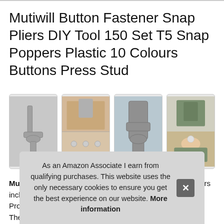Mutiwill Button Fastener Snap Pliers DIY Tool 150 Set T5 Snap Poppers Plastic 10 Colours Buttons Press Stud
[Figure (photo): Four product photos showing snap pliers tool and snap button components in use]
MultiWare - 1 set includes 2 caps, 1 stud and 1 socket pliers inclu... Pron... The... The...
As an Amazon Associate I earn from qualifying purchases. This website uses the only necessary cookies to ensure you get the best experience on our website. More information